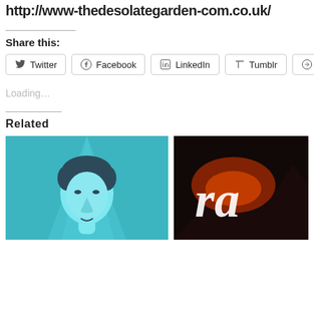http://www-thedesolategarden-com.co.uk/
Share this:
Twitter  Facebook  LinkedIn  Tumblr  Reddit
Loading…
Related
[Figure (illustration): Cartoon illustration of a man with dark hair on a teal/cyan background]
[Figure (photo): Dark image with red/orange glowing text showing partial letter 'ra' against a dark mountainous background]